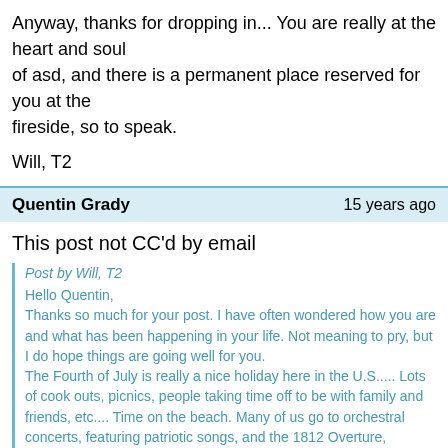Anyway, thanks for dropping in... You are really at the heart and soul of asd, and there is a permanent place reserved for you at the fireside, so to speak.
Will, T2
Quentin Grady   15 years ago
This post not CC'd by email
Post by Will, T2
Hello Quentin,
Thanks so much for your post. I have often wondered how you are and what has been happening in your life. Not meaning to pry, but I do hope things are going well for you.
The Fourth of July is really a nice holiday here in the U.S..... Lots of cook outs, picnics, people taking time off to be with family and friends, etc.... Time on the beach. Many of us go to orchestral concerts, featuring patriotic songs, and the 1812 Overture, complete with cannon...
G'day G'day Will,
I'm quite touched by your comments. It is so important